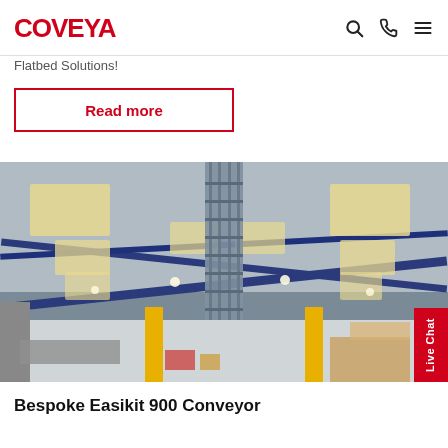COVEYA
Flatbed Solutions!
Read more
[Figure (photo): Interior of a large industrial warehouse with a high vaulted ceiling featuring blue steel beams, skylights, bright overhead LED lights, a vertical conveyor or lift structure in the center, yellow support pillars, and various equipment and storage on the floor.]
Live Chat
Bespoke Easikit 900 Conveyor